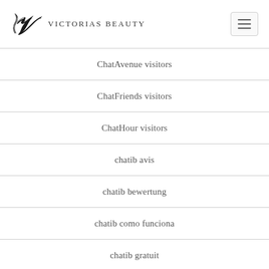Victorias Beauty
ChatAvenue visitors
ChatFriends visitors
ChatHour visitors
chatib avis
chatib bewertung
chatib como funciona
chatib gratuit
chatib italia
chatib pc